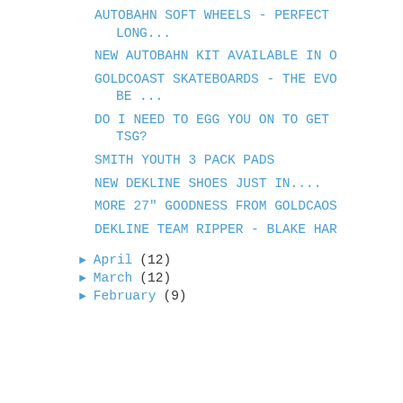AUTOBAHN SOFT WHEELS - PERFECT LONG...
NEW AUTOBAHN KIT AVAILABLE IN O
GOLDCOAST SKATEBOARDS - THE EVO BE ...
DO I NEED TO EGG YOU ON TO GET TSG?
SMITH YOUTH 3 PACK PADS
NEW DEKLINE SHOES JUST IN....
MORE 27" GOODNESS FROM GOLDCAOS
DEKLINE TEAM RIPPER - BLAKE HAR
April (12)
March (12)
February (9)